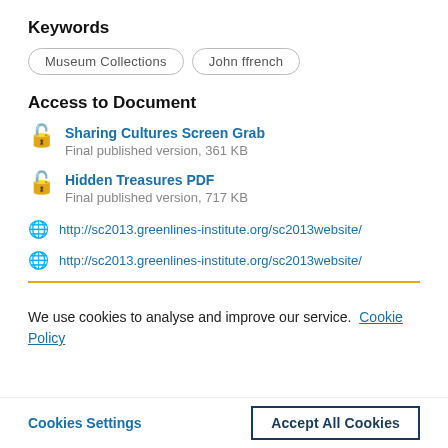Keywords
Museum Collections
John ffrench
Access to Document
Sharing Cultures Screen Grab
Final published version, 361 KB
Hidden Treasures PDF
Final published version, 717 KB
http://sc2013.greenlines-institute.org/sc2013website/
http://sc2013.greenlines-institute.org/sc2013website/
We use cookies to analyse and improve our service. Cookie Policy
Cookies Settings
Accept All Cookies